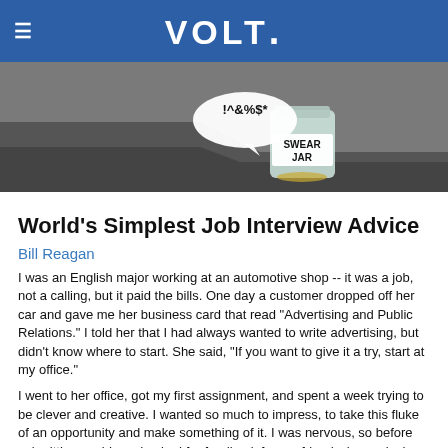VOLT.
[Figure (photo): A glass jar labeled 'SWEAR JAR' with coins inside, and a speech bubble above it reading '!^&%$*', set against a dark gray stepped background.]
World's Simplest Job Interview Advice
Bill Reagan
I was an English major working at an automotive shop -- it was a job, not a calling, but it paid the bills. One day a customer dropped off her car and gave me her business card that read "Advertising and Public Relations."  I told her that I had always wanted to write advertising, but didn't know where to start. She said, "If you want to give it a try, start at my office."
I went to her office, got my first assignment, and spent a week trying to be clever and creative. I wanted so much to impress, to take this fluke of an opportunity and make something of it. I was nervous, so before submitting my ideas, I asked for feedback from a friend who works in advertising. We met for a drink, where she advised me on how to present my work and assured me that I didn't need to be nervous.